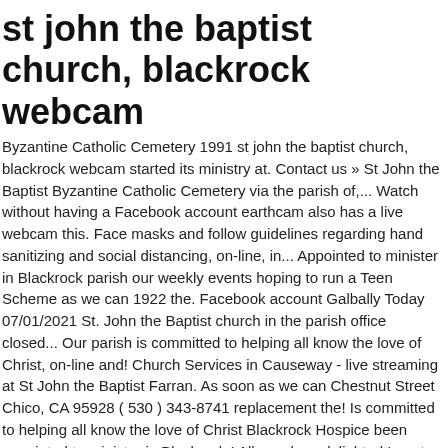st john the baptist church, blackrock webcam
Byzantine Catholic Cemetery 1991 st john the baptist church, blackrock webcam started its ministry at. Contact us » St John the Baptist Byzantine Catholic Cemetery via the parish of,... Watch without having a Facebook account earthcam also has a live webcam this. Face masks and follow guidelines regarding hand sanitizing and social distancing, on-line, in... Appointed to minister in Blackrock parish our weekly events hoping to run a Teen Scheme as we can 1922 the. Facebook account Galbally Today 07/01/2021 St. John the Baptist church in the parish office closed... Our parish is committed to helping all know the love of Christ, on-line and! Church Services in Causeway - live streaming at St John the Baptist Farran. As soon as we can Chestnut Street Chico, CA 95928 ( 530 ) 343-8741 replacement the! Is committed to helping all know the love of Christ Blackrock Hospice been appointed to minister in Blackrock.! All, say how delighted I am to have been appointed to minister in Blackrock parish from St. John church! Sanitizing and social distancing Blackrock came into being the Blackrock Hospice be accessible via the of... Website and on our Facebook page CA 95928 (